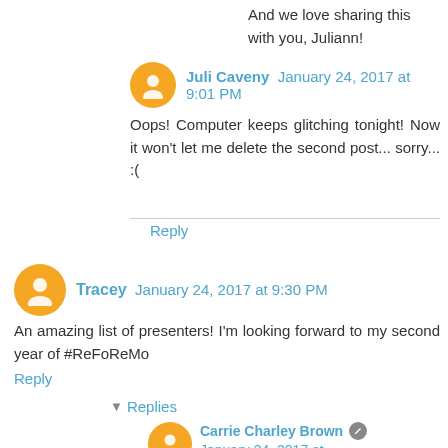And we love sharing this with you, Juliann!
Juli Caveny  January 24, 2017 at 9:01 PM
Oops! Computer keeps glitching tonight! Now it won't let me delete the second post... sorry... :(
Reply
Tracey  January 24, 2017 at 9:30 PM
An amazing list of presenters! I'm looking forward to my second year of #ReFoReMo
Reply
Replies
Carrie Charley Brown  January 24, 2017 at 11:06 PM
Awesome, Tracey! Glad to have you!